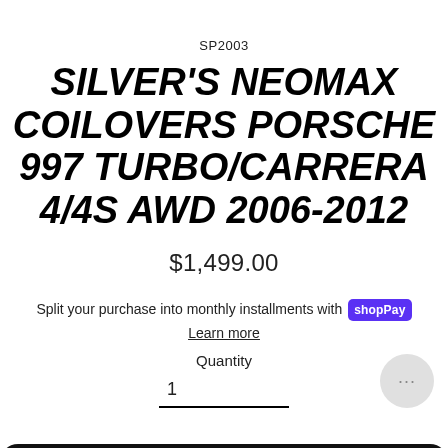SP2003
SILVER'S NEOMAX COILOVERS PORSCHE 997 TURBO/CARRERA 4/4S AWD 2006-2012
$1,499.00
Split your purchase into monthly installments with shop Pay
Learn more
Quantity
1